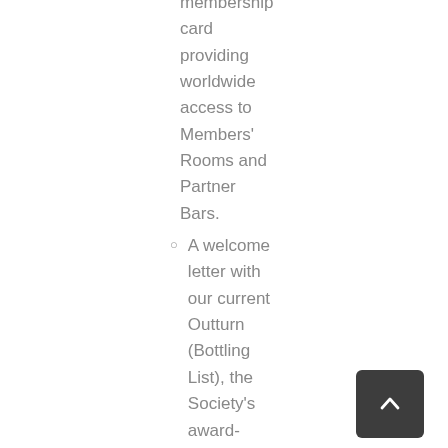membership card providing worldwide access to Members' Rooms and Partner Bars.
A welcome letter with our current Outturn (Bottling List), the Society's award-winning whisky magazine, Unfiltered,